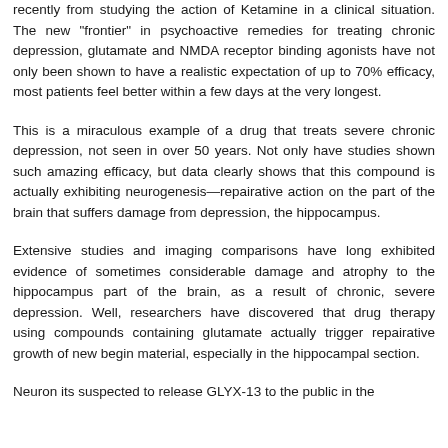recently from studying the action of Ketamine in a clinical situation. The new "frontier" in psychoactive remedies for treating chronic depression, glutamate and NMDA receptor binding agonists have not only been shown to have a realistic expectation of up to 70% efficacy, most patients feel better within a few days at the very longest.
This is a miraculous example of a drug that treats severe chronic depression, not seen in over 50 years. Not only have studies shown such amazing efficacy, but data clearly shows that this compound is actually exhibiting neurogenesis—repairative action on the part of the brain that suffers damage from depression, the hippocampus.
Extensive studies and imaging comparisons have long exhibited evidence of sometimes considerable damage and atrophy to the hippocampus part of the brain, as a result of chronic, severe depression. Well, researchers have discovered that drug therapy using compounds containing glutamate actually trigger repairative growth of new begin material, especially in the hippocampal section.
Neuron its suspected to release GLYX-13 to the public in the